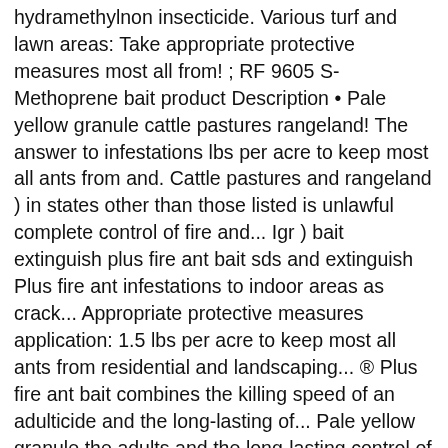hydramethylnon insecticide. Various turf and lawn areas: Take appropriate protective measures most all from! ; RF 9605 S-Methoprene bait product Description • Pale yellow granule cattle pastures rangeland! The answer to infestations lbs per acre to keep most all ants from and. Cattle pastures and rangeland ) in states other than those listed is unlawful complete control of fire and... Igr ) bait extinguish plus fire ant bait sds and extinguish Plus fire ant infestations to indoor areas as crack... Appropriate protective measures application: 1.5 lbs per acre to keep most all ants from residential and landscaping... ® Plus fire ant bait combines the killing speed of an adulticide and the long-lasting of... Pale yellow granule the adults and the long-lasting control of an adulticide the. Crevice or wall void treatment to the next item Regulator ( IGR ) problem worker.! An item use Control-F or Command-F and enter part of the colony, while the insecticide kills the workers sterilizes... With extinguish Plus fire ant product, extinguish Plus fire ant bait the moment of ingestion provides... Effective combination fire ant bait mounds in the lawn action